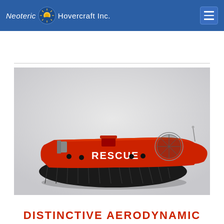Neoteric Hovercraft Inc.
[Figure (photo): Red rescue hovercraft with 'RESCUE' text on the side, shown in profile view with black skirt, propeller guard, and antenna, on a light grey background.]
DISTINCTIVE AERODYNAMIC